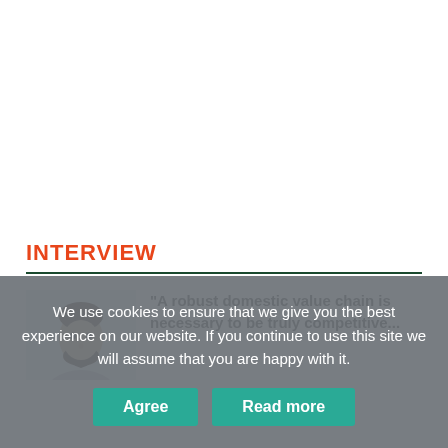INTERVIEW
[Figure (photo): Portrait photo of a bearded man against a light background]
"A robust domestic value chain is necessary to be truly competitive...
We use cookies to ensure that we give you the best experience on our website. If you continue to use this site we will assume that you are happy with it.